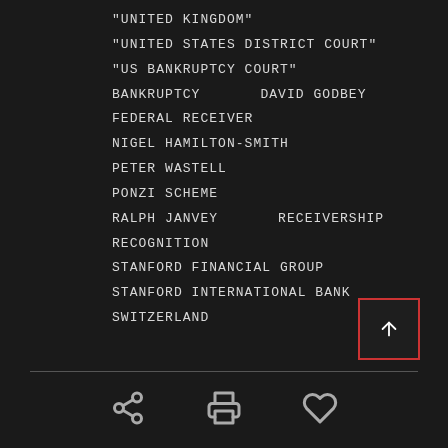"UNITED KINGDOM"
"UNITED STATES DISTRICT COURT"
"US BANKRUPTCY COURT"
BANKRUPTCY    DAVID GODBEY
FEDERAL RECEIVER
NIGEL HAMILTON-SMITH
PETER WASTELL
PONZI SCHEME
RALPH JANVEY    RECEIVERSHIP
RECOGNITION
STANFORD FINANCIAL GROUP
STANFORD INTERNATIONAL BANK
SWITZERLAND